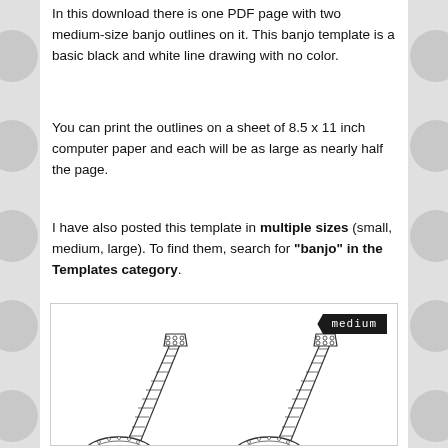In this download there is one PDF page with two medium-size banjo outlines on it. This banjo template is a basic black and white line drawing with no color.
You can print the outlines on a sheet of 8.5 x 11 inch computer paper and each will be as large as nearly half the page.
I have also posted this template in multiple sizes (small, medium, large). To find them, search for "banjo" in the Templates category.
[Figure (illustration): Preview image showing two medium-size banjo outlines (black and white line drawings) side by side, with a dark 'medium' label badge in the upper right corner of the image box.]